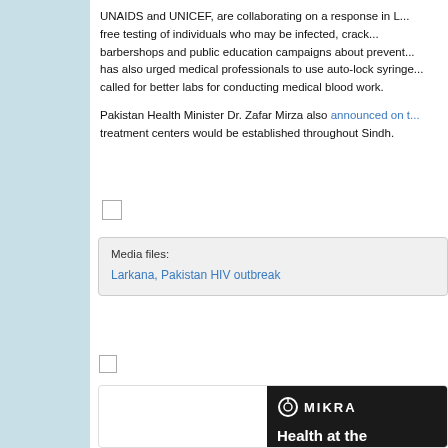UNAIDS and UNICEF, are collaborating on a response in L... free testing of individuals who may be infected, crack... barbershops and public education campaigns about prevent... has also urged medical professionals to use auto-lock syringe... called for better labs for conducting medical blood work.
Pakistan Health Minister Dr. Zafar Mirza also announced on [link] treatment centers would be established throughout Sindh.
Media files:
Larkana, Pakistan HIV outbreak
[Figure (advertisement): MIKRA advertisement: Health at the microscopic level: your cells. All of our bioactive compounds are clinically studied individually with]